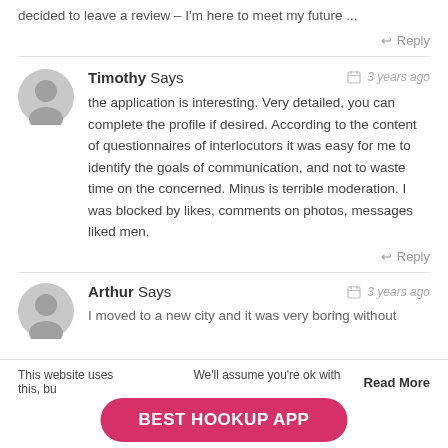decided to leave a review – I'm here to meet my future …
↩ Reply
Timothy Says  🗓 3 years ago
the application is interesting. Very detailed, you can complete the profile if desired. According to the content of questionnaires of interlocutors it was easy for me to identify the goals of communication, and not to waste time on the concerned. Minus is terrible moderation. I was blocked by likes, comments on photos, messages liked men.
↩ Reply
Arthur Says  🗓 3 years ago
I moved to a new city and it was very boring without
This website uses … We'll assume you're ok with this, bu…   Read More
BEST HOOKUP APP